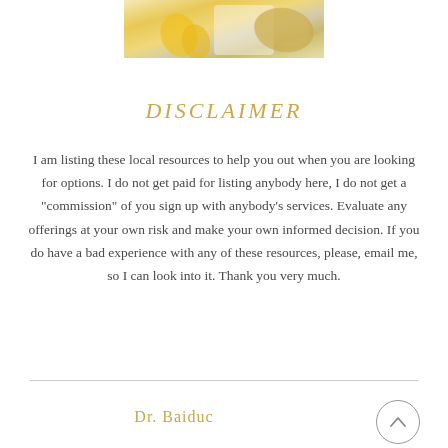[Figure (photo): Partial photo of food items including yellow bell pepper strips and other ingredients on a light background, cropped at the top of the page]
DISCLAIMER
I am listing these local resources to help you out when you are looking for options. I do not get paid for listing anybody here, I do not get a "commission" of you sign up with anybody's services. Evaluate any offerings at your own risk and make your own informed decision. If you do have a bad experience with any of these resources, please, email me, so I can look into it. Thank you very much.
Dr. Baiduc